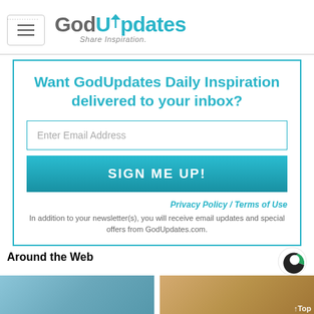GodUpdates — Share Inspiration.
Want GodUpdates Daily Inspiration delivered to your inbox?
Enter Email Address
SIGN ME UP!
Privacy Policy / Terms of Use
In addition to your newsletter(s), you will receive email updates and special offers from GodUpdates.com.
Around the Web
[Figure (screenshot): Two thumbnail images at the bottom of the page under 'Around the Web' section — left image shows a child's hand with a bandage, right image shows a spoon with white substance.]